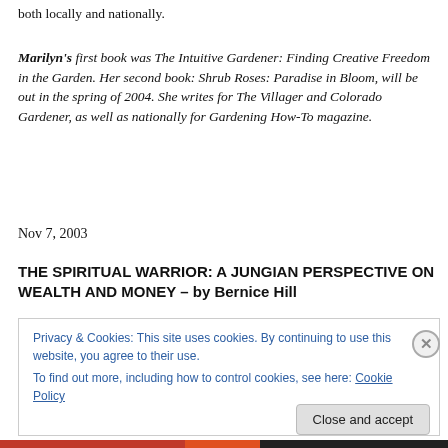both locally and nationally.
Marilyn's first book was The Intuitive Gardener: Finding Creative Freedom in the Garden. Her second book: Shrub Roses: Paradise in Bloom, will be out in the spring of 2004. She writes for The Villager and Colorado Gardener, as well as nationally for Gardening How-To magazine.
Nov 7, 2003
THE SPIRITUAL WARRIOR: A JUNGIAN PERSPECTIVE ON WEALTH AND MONEY – by Bernice Hill
Privacy & Cookies: This site uses cookies. By continuing to use this website, you agree to their use.
To find out more, including how to control cookies, see here: Cookie Policy
Close and accept